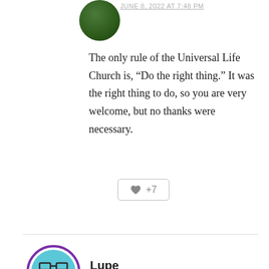JUNE 8, 2022 AT 7:48 PM
The only rule of the Universal Life Church is, “Do the right thing.” It was the right thing to do, so you are very welcome, but no thanks were necessary.
[Figure (other): Like button with heart icon showing +7]
Lupe
JUNE 8, 2022 AT 7:11 AM
I am making polymer clay leaves and butterfly wings. I form them and bake them, but so far I have